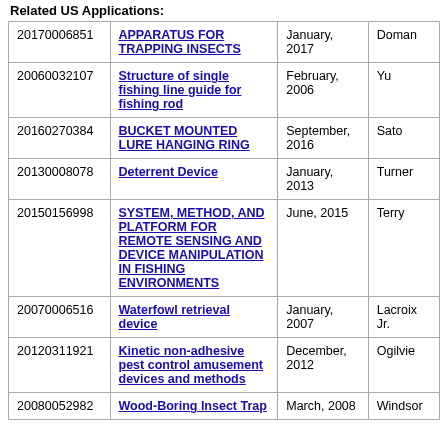Related US Applications:
|  |  |  |  |
| --- | --- | --- | --- |
| 20170006851 | APPARATUS FOR TRAPPING INSECTS | January, 2017 | Doman |
| 20060032107 | Structure of single fishing line guide for fishing rod | February, 2006 | Yu |
| 20160270384 | BUCKET MOUNTED LURE HANGING RING | September, 2016 | Sato |
| 20130008078 | Deterrent Device | January, 2013 | Turner |
| 20150156998 | SYSTEM, METHOD, AND PLATFORM FOR REMOTE SENSING AND DEVICE MANIPULATION IN FISHING ENVIRONMENTS | June, 2015 | Terry |
| 20070006516 | Waterfowl retrieval device | January, 2007 | Lacroix Jr. |
| 20120311921 | Kinetic non-adhesive pest control amusement devices and methods | December, 2012 | Ogilvie |
| 20080052982 | Wood-Boring Insect Trap | March, 2008 | Windsor |